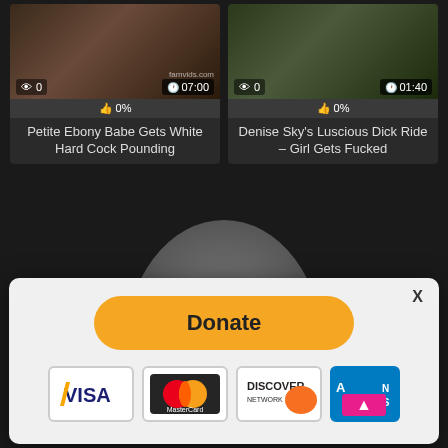[Figure (screenshot): Video thumbnail left - dark adult content thumbnail with view count 0 and duration 07:00]
👁 0  🕐07:00  👍 0%
Petite Ebony Babe Gets White Hard Cock Pounding
[Figure (screenshot): Video thumbnail right - adult content thumbnail with view count 0 and duration 01:40]
👁 0  🕐01:40  👍 0%
Denise Sky's Luscious Dick Ride – Girl Gets Fucked
[Figure (infographic): Donate popup with PayPal-style Donate button and payment card logos: VISA, MasterCard, Discover Network, American Express]